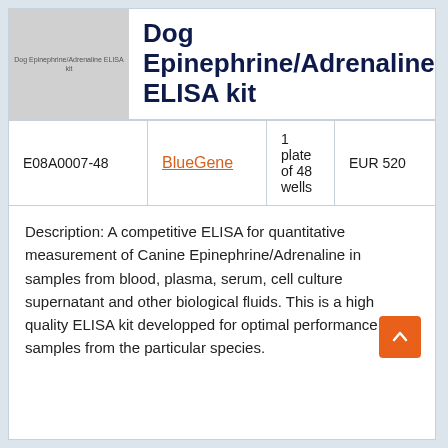[Figure (photo): Product image placeholder showing 'Dog Epinephrine/Adrenaline ELISA kit' label on a gray background]
Dog Epinephrine/Adrenaline ELISA kit
| Catalog | Brand | Quantity | Price |
| --- | --- | --- | --- |
| E08A0007-48 | BlueGene | 1 plate of 48 wells | EUR 520 |
Description: A competitive ELISA for quantitative measurement of Canine Epinephrine/Adrenaline in samples from blood, plasma, serum, cell culture supernatant and other biological fluids. This is a high quality ELISA kit developped for optimal performance with samples from the particular species.